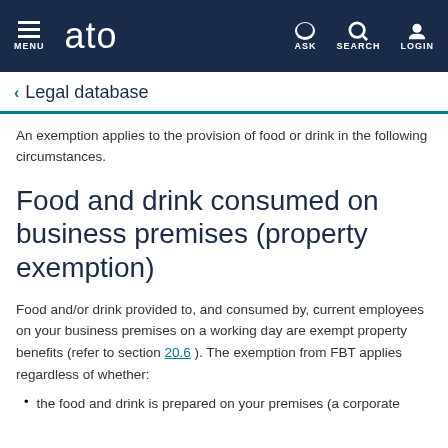MENU  ato  ASK  SEARCH  LOGIN
Legal database
An exemption applies to the provision of food or drink in the following circumstances.
Food and drink consumed on business premises (property exemption)
Food and/or drink provided to, and consumed by, current employees on your business premises on a working day are exempt property benefits (refer to section 20.6 ). The exemption from FBT applies regardless of whether:
the food and drink is prepared on your premises (a corporate